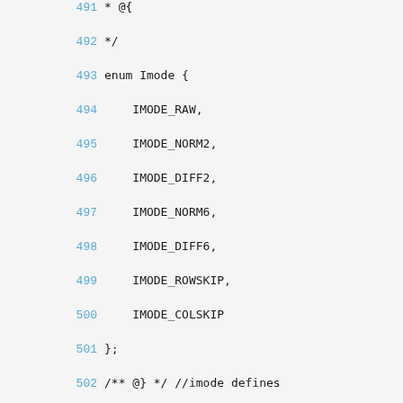491    * @{
492     */
493    enum Imode {
494        IMODE_RAW,
495        IMODE_NORM2,
496        IMODE_DIFF2,
497        IMODE_NORM6,
498        IMODE_DIFF6,
499        IMODE_ROWSKIP,
500        IMODE_COLSKIP
501    };
502    /** @} */ //imode defines
503
504    /** Decode rows by checking if they are s
505     * @param plane Buffer to store decoded b
506     * @param[in] width Width of this buffer